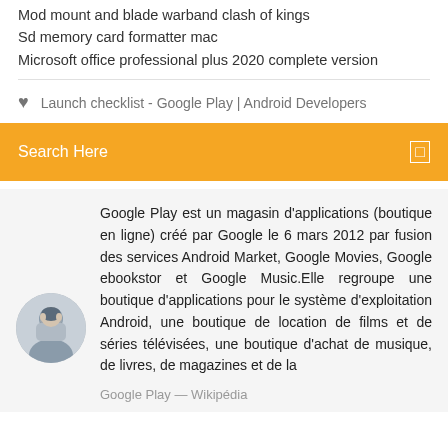Mod mount and blade warband clash of kings
Sd memory card formatter mac
Microsoft office professional plus 2020 complete version
Launch checklist - Google Play | Android Developers
Search Here
Google Play est un magasin d'applications (boutique en ligne) créé par Google le 6 mars 2012 par fusion des services Android Market, Google Movies, Google ebookstor et Google Music.Elle regroupe une boutique d'applications pour le système d'exploitation Android, une boutique de location de films et de séries télévisées, une boutique d'achat de musique, de livres, de magazines et de la
Google Play — Wikipédia